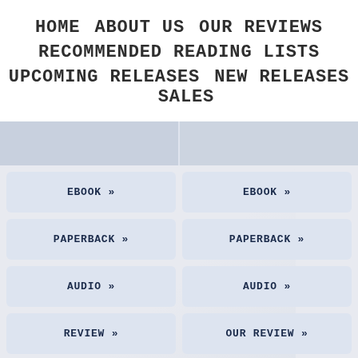HOME   ABOUT US   OUR REVIEWS   RECOMMENDED READING LISTS   UPCOMING RELEASES   NEW RELEASES   SALES
EBOOK »
EBOOK »
PAPERBACK »
PAPERBACK »
AUDIO »
AUDIO »
REVIEW »
OUR REVIEW »